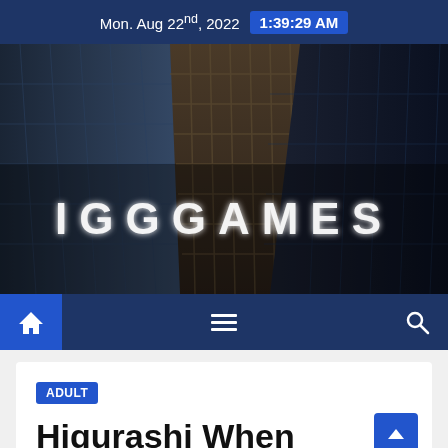Mon. Aug 22nd, 2022  1:39:29 AM
[Figure (screenshot): IGG Games banner image showing city skyscrapers from a low angle with the text IGGGAMES overlaid in illuminated letters]
Navigation bar with home icon, hamburger menu, and search icon
ADULT
Higurashi When